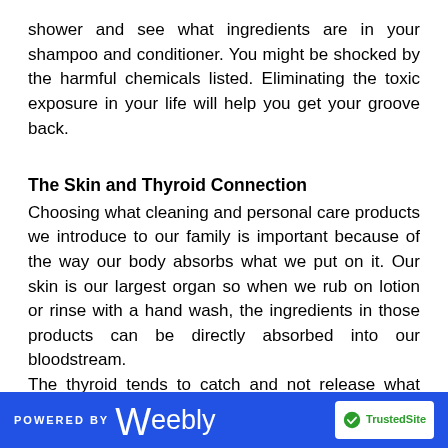shower and see what ingredients are in your shampoo and conditioner. You might be shocked by the harmful chemicals listed. Eliminating the toxic exposure in your life will help you get your groove back.
The Skin and Thyroid Connection
Choosing what cleaning and personal care products we introduce to our family is important because of the way our body absorbs what we put on it. Our skin is our largest organ so when we rub on lotion or rinse with a hand wash, the ingredients in those products can be directly absorbed into our bloodstream. The thyroid tends to catch and not release what passes by, which can lead to a toxic build up over time. When there is a toxicity build up, nutrient deficiencies, food sensitivities, and hormonal
POWERED BY weebly | TrustedSite